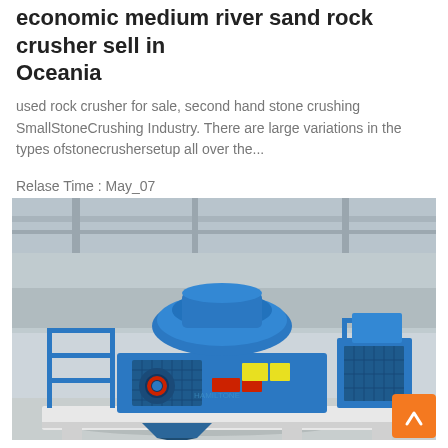economic medium river sand rock crusher sell in Oceania
used rock crusher for sale, second hand stone crushing SmallStoneCrushing Industry. There are large variations in the types ofstonecrushersetup all over the...
Relase Time : May_07
[Figure (photo): Photograph of a large blue industrial rock crusher machine mounted on a white metal platform/frame inside an industrial warehouse facility. The crusher is painted bright blue with guard rails and safety equipment visible.]